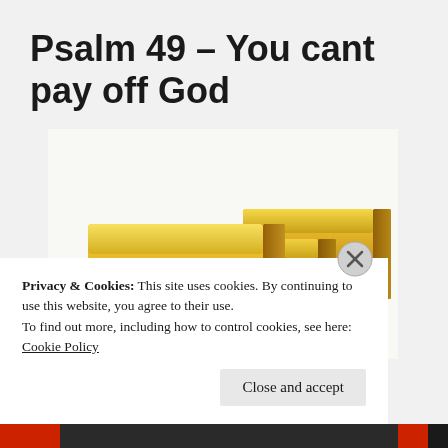Psalm 49 – You cant pay off God
[Figure (photo): Stack of shiny gold bars labeled FINE GOLD 999.9 on a white background]
Privacy & Cookies: This site uses cookies. By continuing to use this website, you agree to their use.
To find out more, including how to control cookies, see here: Cookie Policy
Close and accept